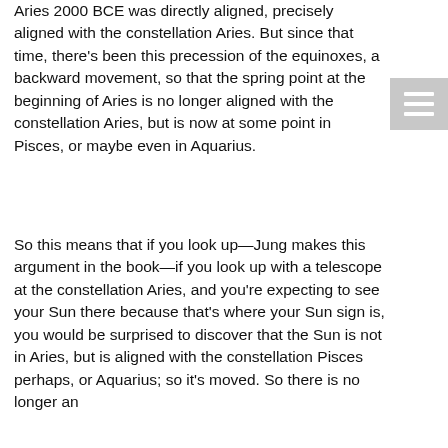Aries 2000 BCE was directly aligned, precisely aligned with the constellation Aries. But since that time, there’s been this precession of the equinoxes, a backward movement, so that the spring point at the beginning of Aries is no longer aligned with the constellation Aries, but is now at some point in Pisces, or maybe even in Aquarius.
So this means that if you look up—Jung makes this argument in the book—if you look up with a telescope at the constellation Aries, and you’re expecting to see your Sun there because that’s where your Sun sign is, you would be surprised to discover that the Sun is not in Aries, but is aligned with the constellation Pisces perhaps, or Aquarius; so it’s moved. So there is no longer an